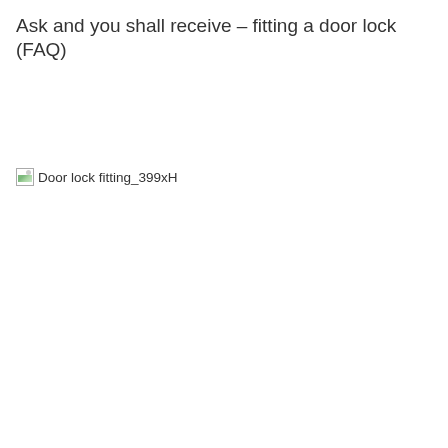Ask and you shall receive – fitting a door lock (FAQ)
[Figure (photo): Broken image placeholder labeled 'Door lock fitting_399xH']